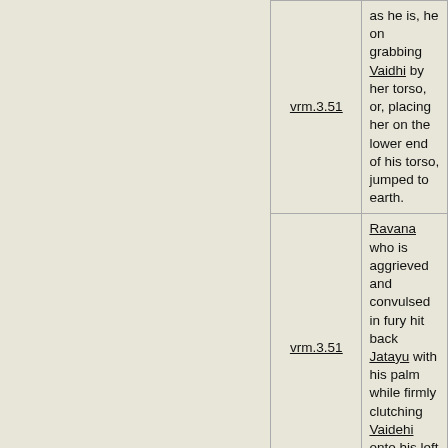| Reference | Text |
| --- | --- |
| vrm.3.51 | as he is, he on grabbing Vaidhi by her torso, or, placing her on the lower end of his torso, jumped to earth. |
| vrm.3.51 | Ravana who is aggrieved and convulsed in fury hit back Jatayu with his palm while firmly clutching Vaidehi onto his left flank. |
| vrm.3.51 | Jatayu, the lord of Birds, being a vanquisher of enemies outstripped Ravana and ripped off ten left arms of Ravana with his beak, with which left arms Ravana is clutching Vaidehi, in order to release her from his clutches. |
| vrm.3.51 | On seeing Jatayu fallen on earth and dampened with blood Vaidehi fell into a fit of weeping and ran towards him as if he is her own relative. |
| vrm.3.52 | That sovereign of Rakshasas, Ravana, rushed towards Vaidehi whose garlands and jewellery are muddled up and who is bawling like an orphanized one. |
| vrm.3.52 | While Vaidehi is insulted thus, entire world together with its mobile or sessile beings became chaotic, and there chanced a blanketing of a blinding blackness, and waft less is |